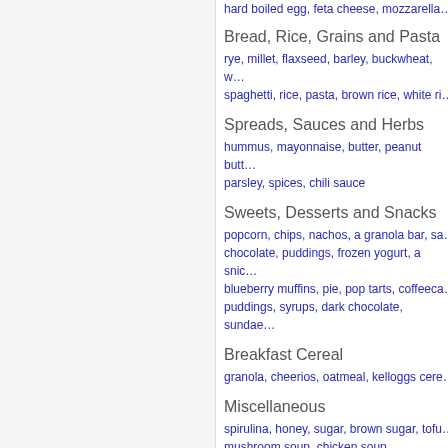hard boiled egg, feta cheese, mozzarella…
Bread, Rice, Grains and Pasta
rye, millet, flaxseed, barley, buckwheat, w… spaghetti, rice, pasta, brown rice, white ri…
Spreads, Sauces and Herbs
hummus, mayonnaise, butter, peanut butt… parsley, spices, chili sauce
Sweets, Desserts and Snacks
popcorn, chips, nachos, a granola bar, sa… chocolate, puddings, frozen yogurt, a snic… blueberry muffins, pie, pop tarts, coffeeca… puddings, syrups, dark chocolate, sundae…
Breakfast Cereal
granola, cheerios, oatmeal, kelloggs cere…
Miscellaneous
spirulina, honey, sugar, brown sugar, tofu… mushroom soup, chicken soup, vegetable… soybean oil, soy protein, gravy, raisins, cu… japanese noodles, macaroni and cheese,…